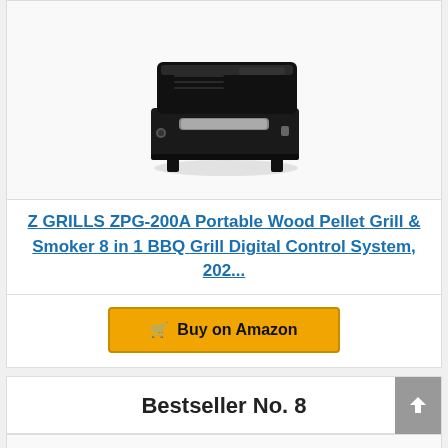[Figure (photo): Black portable wood pellet grill and smoker (Z GRILLS ZPG-200A), boxy shape with lid, handles, and legs]
Z GRILLS ZPG-200A Portable Wood Pellet Grill & Smoker 8 in 1 BBQ Grill Digital Control System, 202...
Buy on Amazon
Bestseller No. 8